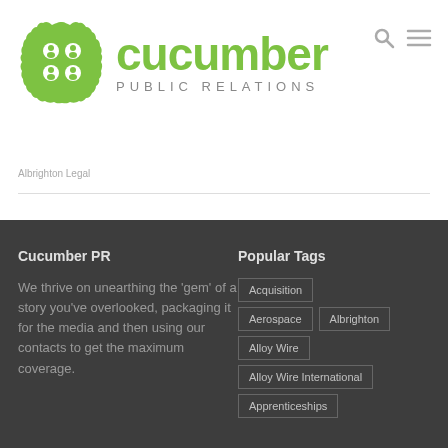[Figure (logo): Cucumber Public Relations logo with green badge icon and green cucumber text with 'PUBLIC RELATIONS' subtitle]
Albrighton Legal
Cucumber PR
We thrive on unearthing the 'gem' of a story you've overlooked, packaging it for the media and then using our contacts to get the maximum coverage.
Popular Tags
Acquisition
Aerospace
Albrighton
Alloy Wire
Alloy Wire International
Apprenticeships